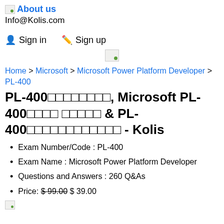About us
Info@Kolis.com
Sign in   Sign up
[Figure (logo): Website logo placeholder image]
Home > Microsoft > Microsoft Power Platform Developer > PL-400
PL-400□□□□□□□□, Microsoft PL-400□□□□ □□□□□ & PL-400□□□□□□□□□□□□ - Kolis
Exam Number/Code : PL-400
Exam Name : Microsoft Power Platform Developer
Questions and Answers : 260 Q&As
Price: $ 99.00 $ 39.00